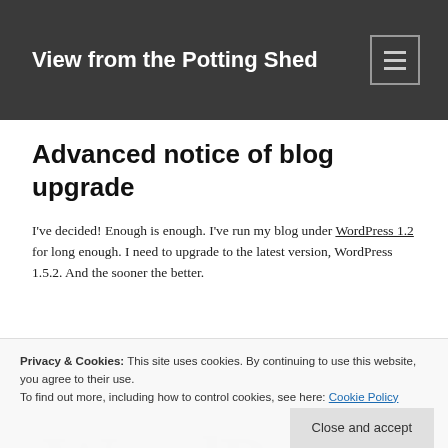View from the Potting Shed
Advanced notice of blog upgrade
I've decided! Enough is enough. I've run my blog under WordPress 1.2 for long enough. I need to upgrade to the latest version, WordPress 1.5.2. And the sooner the better.
Privacy & Cookies: This site uses cookies. By continuing to use this website, you agree to their use. To find out more, including how to control cookies, see here: Cookie Policy
[Figure (logo): WordPress watermark logo text in light blue-gray]
One reason is that I'm currently deleting over 200